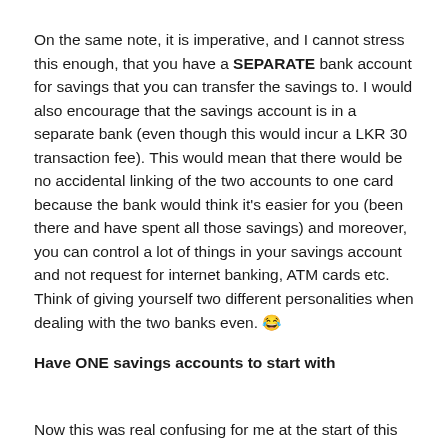On the same note, it is imperative, and I cannot stress this enough, that you have a SEPARATE bank account for savings that you can transfer the savings to. I would also encourage that the savings account is in a separate bank (even though this would incur a LKR 30 transaction fee). This would mean that there would be no accidental linking of the two accounts to one card because the bank would think it's easier for you (been there and have spent all those savings) and moreover, you can control a lot of things in your savings account and not request for internet banking, ATM cards etc. Think of giving yourself two different personalities when dealing with the two banks even. 😂
Have ONE savings accounts to start with
Now this was real confusing for me at the start of this